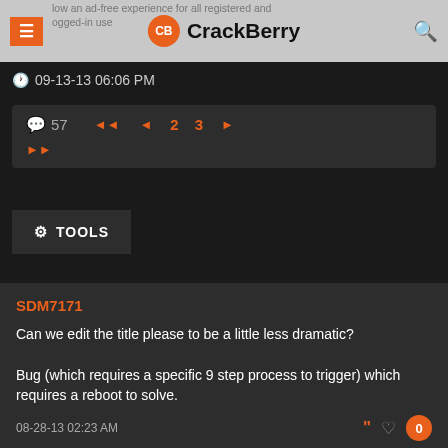CrackBerry — how an ad-free experience for all registered and logged-in users
09-13-13 06:06 PM
57  «  ‹  2  3  »  »
TOOLS
SDM7171
Can we edit the title please to be a little less dramatic?

Bug (which requires a specific 9 step process to trigger) which requires a reboot to solve.
08-28-13 02:23 AM